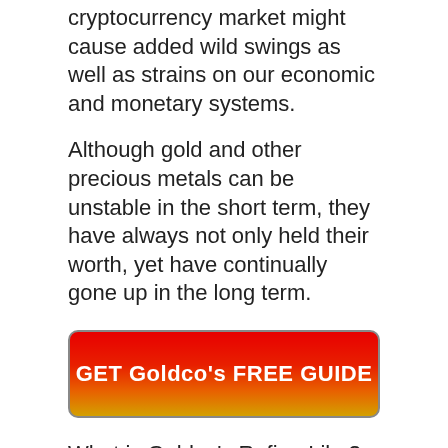cryptocurrency market might cause added wild swings as well as strains on our economic and monetary systems.
Although gold and other precious metals can be unstable in the short term, they have always not only held their worth, yet have continually gone up in the long term.
[Figure (other): Red to orange/gold gradient button with white bold text reading 'GET Goldco's FREE GUIDE']
What is Goldco’s Refine Like?
“ From Goldco’s web site, we entered our e-mail address and also phone number in order